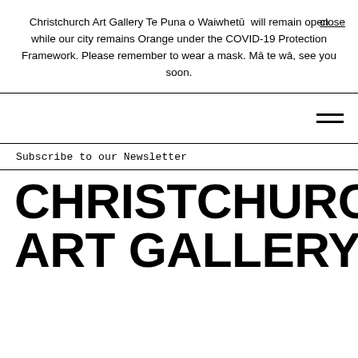Christchurch Art Gallery Te Puna o Waiwhetū will remain open while our city remains Orange under the COVID-19 Protection Framework. Please remember to wear a mask. Mā te wā, see you soon. close
Subscribe to our Newsletter
CHRISTCHURCH ART GALLERY